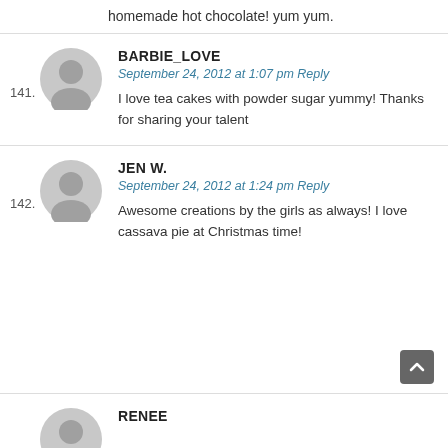homemade hot chocolate! yum yum.
141. BARBIE_LOVE — September 24, 2012 at 1:07 pm Reply — I love tea cakes with powder sugar yummy! Thanks for sharing your talent
142. JEN W. — September 24, 2012 at 1:24 pm Reply — Awesome creations by the girls as always! I love cassava pie at Christmas time!
RENEE